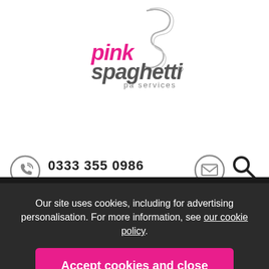[Figure (logo): Pink Spaghetti PA Services logo — pink and grey script wordmark with decorative swoosh]
0333 355 0986
MENU
Our site uses cookies, including for advertising personalisation. For more information, see our cookie policy.
Accept cookies and close
Reject cookies
Manage settings